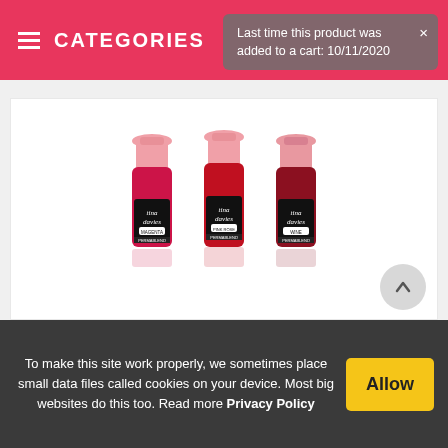≡ CATEGORIES
Last time this product was added to a cart: 10/11/2020
[Figure (photo): Three small Tina Davies Perma Blend pigment bottles labeled Magenta, Pink Rose, and Wine, with pink caps and dark labels, arranged side by side on a white background with reflections below.]
To make this site work properly, we sometimes place small data files called cookies on your device. Most big websites do this too. Read more Privacy Policy
Allow